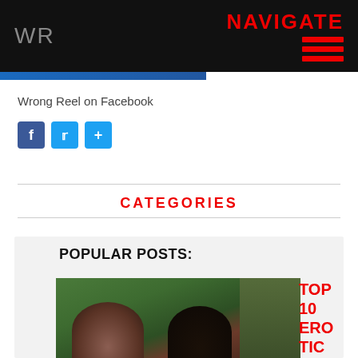WR | NAVIGATE
[Figure (other): Blue horizontal bar below header navigation]
Wrong Reel on Facebook
[Figure (other): Social media icons: Facebook (f), Twitter (bird), Share (+)]
CATEGORIES
POPULAR POSTS:
[Figure (photo): Partially visible photo of two people outdoors with greenery background. Red overlay text reads: TOP 10 ERO TIC HOR]